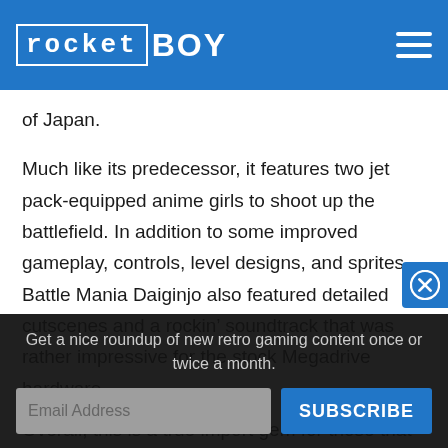rocketBOY
of Japan.
Much like its predecessor, it features two jet pack-equipped anime girls to shoot up the battlefield. In addition to some improved gameplay, controls, level designs, and sprites, Battle Mania Daiginjo also featured detailed cutscenes and a rockin’ soundtrack that was rather impressive for the stock Megadrive hardware.
Overall, this is a true import gem for those that enjoy
Get a nice roundup of new retro gaming content once or twice a month.